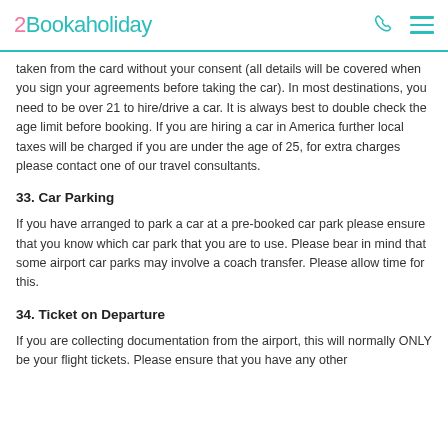2Bookaholiday
taken from the card without your consent (all details will be covered when you sign your agreements before taking the car). In most destinations, you need to be over 21 to hire/drive a car. It is always best to double check the age limit before booking. If you are hiring a car in America further local taxes will be charged if you are under the age of 25, for extra charges please contact one of our travel consultants.
33. Car Parking
If you have arranged to park a car at a pre-booked car park please ensure that you know which car park that you are to use. Please bear in mind that some airport car parks may involve a coach transfer. Please allow time for this.
34. Ticket on Departure
If you are collecting documentation from the airport, this will normally ONLY be your flight tickets. Please ensure that you have any other